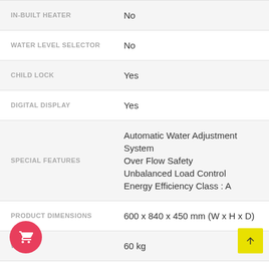| Feature | Value |
| --- | --- |
| IN-BUILT HEATER | No |
| WATER LEVEL SELECTOR | No |
| CHILD LOCK | Yes |
| DIGITAL DISPLAY | Yes |
| SPECIAL FEATURES | Automatic Water Adjustment System
Over Flow Safety
Unbalanced Load Control
Energy Efficiency Class : A |
| PRODUCT DIMENSIONS | 600 x 840 x 450 mm (W x H x D) |
| WEIGHT | 60 kg |